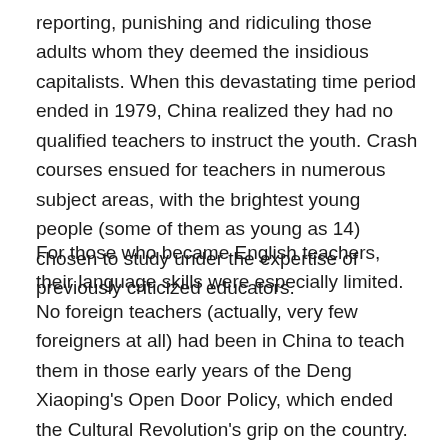reporting, punishing and ridiculing those adults whom they deemed the insidious capitalists. When this devastating time period ended in 1979, China realized they had no qualified teachers to instruct the youth. Crash courses ensued for teachers in numerous subject areas, with the brightest young people (some of them as young as 14) chosen to study under the expertise of previously criticized educators.
For those who became English teachers, their language skills were especially limited. No foreign teachers (actually, very few foreigners at all) had been in China to teach them in those early years of the Deng Xiaoping's Open Door Policy, which ended the Cultural Revolution's grip on the country. Most students had just stumbled along in their language studies, some excelling while others floundered